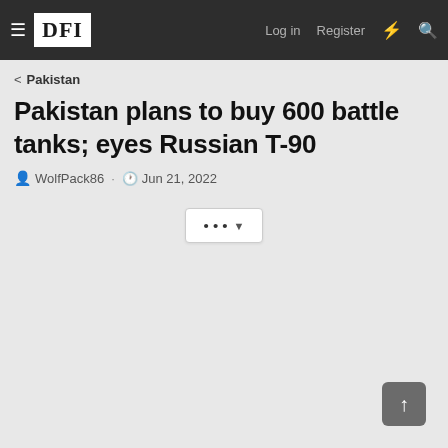DFI — Log in  Register
< Pakistan
Pakistan plans to buy 600 battle tanks; eyes Russian T-90
WolfPack86 · Jun 21, 2022
[Figure (other): More options button with ellipsis and dropdown arrow]
[Figure (other): Scroll to top button with upward arrow]